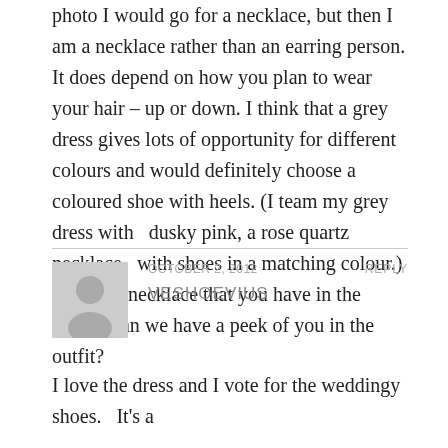photo I would go for a necklace, but then I am a necklace rather than an earring person. It does depend on how you plan to wear your hair – up or down. I think that a grey dress gives lots of opportunity for different colours and would definitely choose a coloured shoe with heels. (I team my grey dress with  dusky pink, a rose quartz necklace  with shoes in a matching colour.) I like the necklace that you have in the photo. Can we have a peek of you in the outfit?
OCTOBER 2, 2012
REPLY
VESHOEVIUS
I love the dress and I vote for the weddingy shoes.   It's a